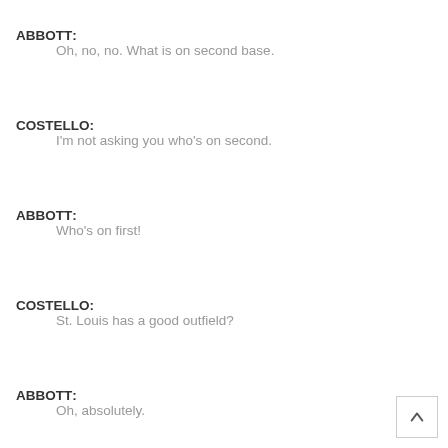ABBOTT: Oh, no, no. What is on second base.
COSTELLO: I'm not asking you who's on second.
ABBOTT: Who's on first!
COSTELLO: St. Louis has a good outfield?
ABBOTT: Oh, absolutely.